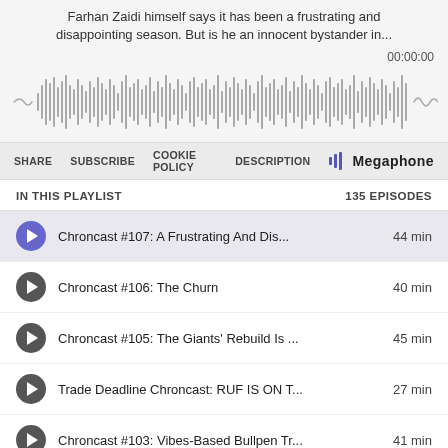Farhan Zaidi himself says it has been a frustrating and disappointing season. But is he an innocent bystander in...
[Figure (other): Audio waveform visualization with timestamp 00:00:00]
SHARE   SUBSCRIBE   COOKIE POLICY   DESCRIPTION   ||| Megaphone
IN THIS PLAYLIST   135 EPISODES
Chroncast #107: A Frustrating And Dis...   44 min
Chroncast #106: The Churn   40 min
Chroncast #105: The Giants' Rebuild Is ...   45 min
Trade Deadline Chroncast: RUF IS ON T...27 min
Chroncast #103: Vibes-Based Bullpen Tr...   41 min